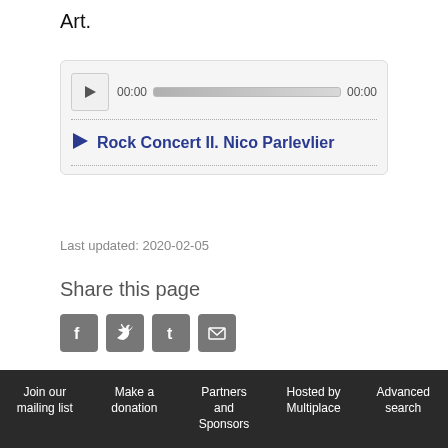Art.
[Figure (screenshot): Audio player widget showing a play button, progress bar with timestamps 00:00 and 00:00, and a track listing for 'Rock Concert II. Nico Parlevlier']
Last updated: 2020-02-05
Share this page
[Figure (other): Social sharing icons: Facebook, Twitter, Tumblr, Email]
Related articles
Growthrings CD: part of catalogue: content and inlay
Growthrings: Hermit II
Join our mailing list   Make a donation   Partners and Sponsors   Hosted by Multiplace   Advanced search